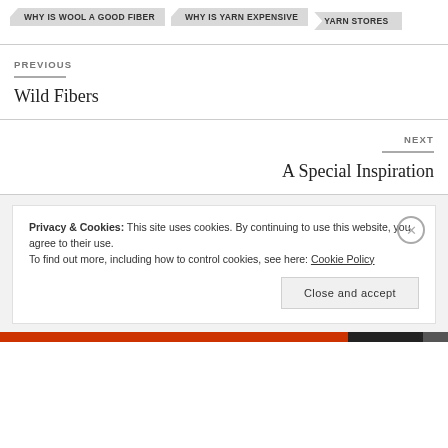WHY IS WOOL A GOOD FIBER
WHY IS YARN EXPENSIVE
YARN STORES
PREVIOUS
Wild Fibers
NEXT
A Special Inspiration
Privacy & Cookies: This site uses cookies. By continuing to use this website, you agree to their use.
To find out more, including how to control cookies, see here: Cookie Policy
Close and accept